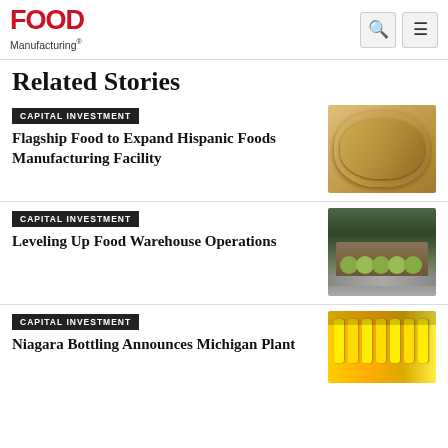Food Manufacturing
Related Stories
CAPITAL INVESTMENT
Flagship Food to Expand Hispanic Foods Manufacturing Facility
[Figure (photo): Stack of flour tortillas on a wooden surface]
CAPITAL INVESTMENT
Leveling Up Food Warehouse Operations
[Figure (photo): Box of green apples on a warehouse conveyor belt]
CAPITAL INVESTMENT
Niagara Bottling Announces Michigan Plant
[Figure (photo): Yellow bottles on a bottling production line]